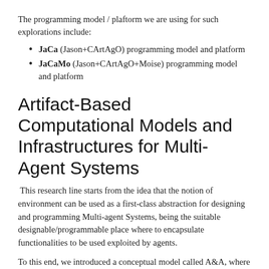The programming model / plaftorm we are using for such explorations include:
JaCa (Jason+CArtAgO) programming model and platform
JaCaMo (Jason+CArtAgO+Moise) programming model and platform
Artifact-Based Computational Models and Infrastructures for Multi-Agent Systems
This research line starts from the idea that the notion of environment can be used as a first-class abstraction for designing and programming Multi-agent Systems, being the suitable designable/programmable place where to encapsulate functionalities to be used exploited by agents.
To this end, we introduced a conceptual model called A&A, where the environment can be conceived in terms of basic modules called artifacts, which are programmed by the MAS designers and that are the basic bricks that agents can instantiate, share, use, and compose at runtime. CArtAgO is a